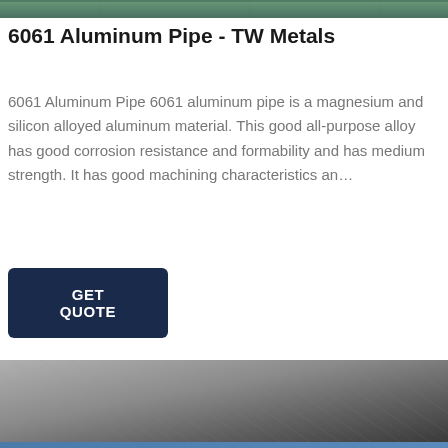[Figure (photo): Partial view of a metal pipe or aluminum material at the very top of the page, cropped]
6061 Aluminum Pipe - TW Metals
6061 Aluminum Pipe 6061 aluminum pipe is a magnesium and silicon alloyed aluminum material. This good all-purpose alloy has good corrosion resistance and formability and has medium strength. It has good machining characteristics an…
[Figure (other): GET QUOTE dark navy blue button]
[Figure (photo): Close-up photo of brushed aluminum or metal sheet surface with diagonal grain texture, partially visible at the bottom of the page]